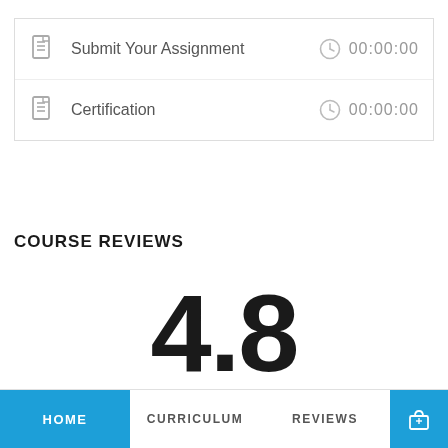| Icon | Item | Clock | Time |
| --- | --- | --- | --- |
| [doc] | Submit Your Assignment | [clock] | 00:00:00 |
| [doc] | Certification | [clock] | 00:00:00 |
COURSE REVIEWS
4.8
HOME   CURRICULUM   REVIEWS   [cart]